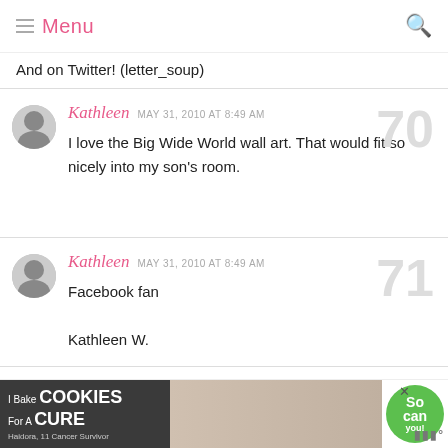Menu
And on Twitter! (letter_soup)
Kathleen  MAY 31, 2010 AT 8:49 AM
I love the Big Wide World wall art. That would fit so nicely into my son's room.
70
Kathleen  MAY 31, 2010 AT 8:49 AM
Facebook fan
Kathleen W.
71
[Figure (other): Advertisement banner: I Bake COOKIES For A CURE – Haidora, 11 Cancer Survivor – So can you! – cookies for kids cancer logo]